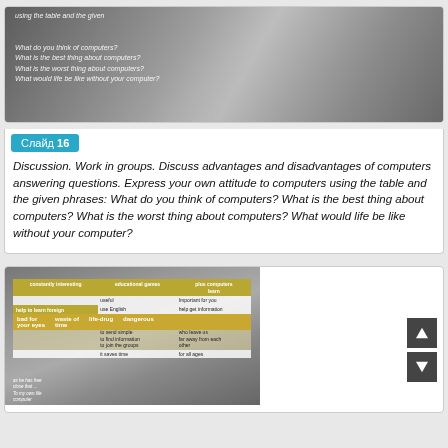[Figure (screenshot): Screenshot of a presentation slide with dark/grey gradient background showing discussion questions about computers in italic white text]
Слайд 16
Discussion. Work in groups. Discuss advantages and disadvantages of computers answering questions. Express your own attitude to computers using the table and the given phrases: What do you think of computers? What is the best thing about computers? What is the worst thing about computers? What would life be like without your computer?
[Figure (screenshot): Screenshot of a slide showing a table about computers with gold/yellow header rows listing advantages and disadvantages, with text about uses like shopping online, learning foreign languages, and dangers like bad for eyes]